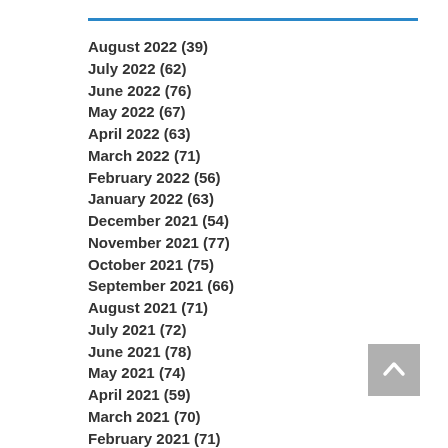August 2022 (39)
July 2022 (62)
June 2022 (76)
May 2022 (67)
April 2022 (63)
March 2022 (71)
February 2022 (56)
January 2022 (63)
December 2021 (54)
November 2021 (77)
October 2021 (75)
September 2021 (66)
August 2021 (71)
July 2021 (72)
June 2021 (78)
May 2021 (74)
April 2021 (59)
March 2021 (70)
February 2021 (71)